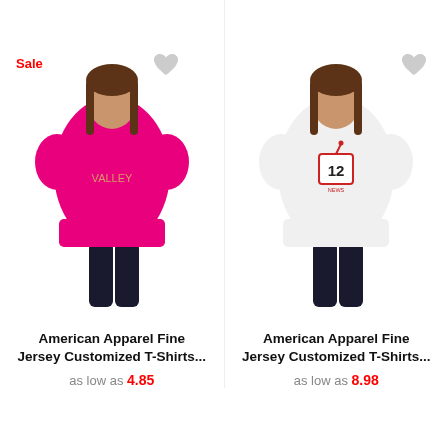Sale
[Figure (photo): Woman wearing pink t-shirt with gold logo design]
[Figure (photo): Woman wearing white t-shirt with News 12 logo design]
American Apparel Fine Jersey Customized T-Shirts...
as low as 4.85
American Apparel Fine Jersey Customized T-Shirts...
as low as 8.98